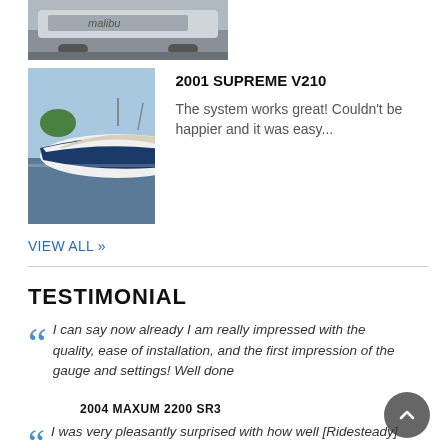[Figure (photo): Partial top view of a boat (Malibu) on a trailer, cropped at top of page]
[Figure (photo): 2001 Supreme V210 boat docked at a marina with cover, blue and white hull]
2001 SUPREME V210
The system works great! Couldn't be happier and it was easy...
VIEW ALL »
TESTIMONIAL
I can say now already I am really impressed with the quality, ease of installation, and the first impression of the gauge and settings! Well done
2004 MAXUM 2200 SR3
I was very pleasantly surprised with how well [Ridesteady]